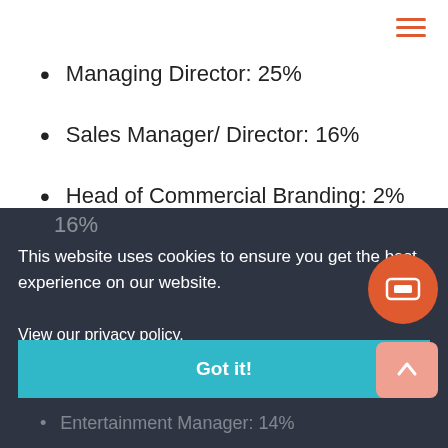Managing Director: 25%
Sales Manager/ Director: 16%
Head of Commercial Branding: 2%
Business Development Manager/ Director: 16%
This website uses cookies to ensure you get the best experience on our website.
View our privacy policy.
Got it!
Events Manager/ Director: 14%
Entertainment Manager: 14%